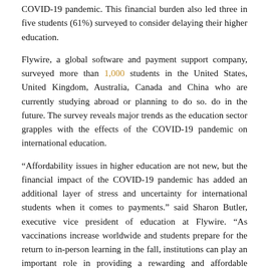COVID-19 pandemic. This financial burden also led three in five students (61%) surveyed to consider delaying their higher education.
Flywire, a global software and payment support company, surveyed more than 1,000 students in the United States, United Kingdom, Australia, Canada and China who are currently studying abroad or planning to do so. do in the future. The survey reveals major trends as the education sector grapples with the effects of the COVID-19 pandemic on international education.
“Affordability issues in higher education are not new, but the financial impact of the COVID-19 pandemic has added an additional layer of stress and uncertainty for international students when it comes to payments.” said Sharon Butler, executive vice president of education at Flywire. “As vaccinations increase worldwide and students prepare for the return to in-person learning in the fall, institutions can play an important role in providing a rewarding and affordable experience that all students deserve. “
Students optimistic about international education